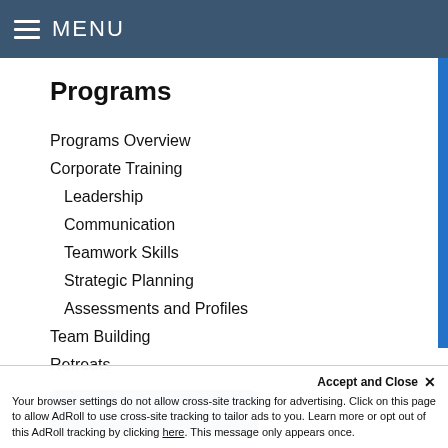MENU
Programs
Programs Overview
Corporate Training
Leadership
Communication
Teamwork Skills
Strategic Planning
Assessments and Profiles
Team Building
Retreats
Comparison Chart »
Accept and Close ✕
Your browser settings do not allow cross-site tracking for advertising. Click on this page to allow AdRoll to use cross-site tracking to tailor ads to you. Learn more or opt out of this AdRoll tracking by clicking here. This message only appears once.